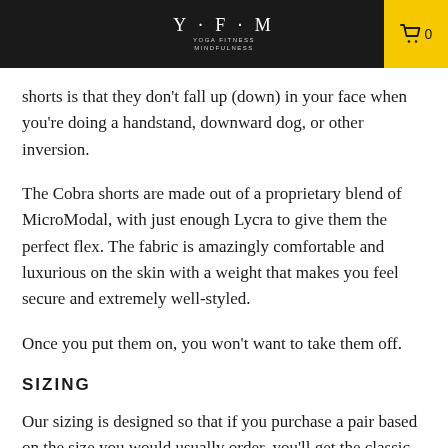Y·F·M YOGA FITNESS MINDFULNESS
shorts is that they don't fall up (down) in your face when you're doing a handstand, downward dog, or other inversion.
The Cobra shorts are made out of a proprietary blend of MicroModal, with just enough Lycra to give them the perfect flex. The fabric is amazingly comfortable and luxurious on the skin with a weight that makes you feel secure and extremely well-styled.
Once you put them on, you won't want to take them off.
SIZING
Our sizing is designed so that if you purchase a pair based on the size you would usually order, you'll get the classic Cobra fit: snug, but not tight, and ending above the knee,